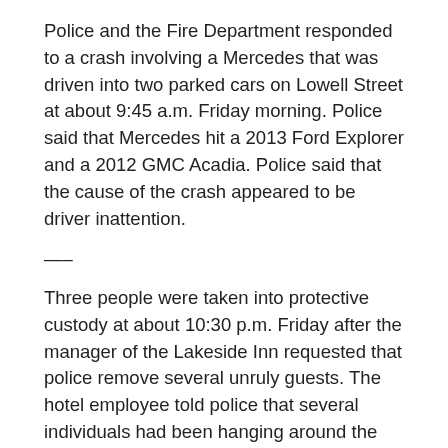Police and the Fire Department responded to a crash involving a Mercedes that was driven into two parked cars on Lowell Street at about 9:45 a.m. Friday morning. Police said that Mercedes hit a 2013 Ford Explorer and a 2012 GMC Acadia. Police said that the cause of the crash appeared to be driver inattention.
—–
Three people were taken into protective custody at about 10:30 p.m. Friday after the manager of the Lakeside Inn requested that police remove several unruly guests. The hotel employee told police that several individuals had been hanging around the lobby and the parking lot of the hotel and appeared to be intoxicated. They reportedly had made their way into one of the hotel rooms and were causing a